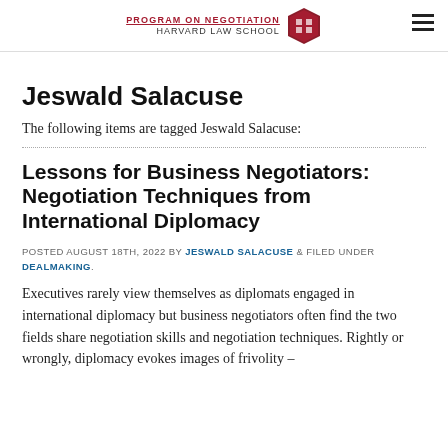PROGRAM ON NEGOTIATION HARVARD LAW SCHOOL
Jeswald Salacuse
The following items are tagged Jeswald Salacuse:
Lessons for Business Negotiators: Negotiation Techniques from International Diplomacy
POSTED AUGUST 18TH, 2022 BY JESWALD SALACUSE & FILED UNDER DEALMAKING.
Executives rarely view themselves as diplomats engaged in international diplomacy but business negotiators often find the two fields share negotiation skills and negotiation techniques. Rightly or wrongly, diplomacy evokes images of frivolity –